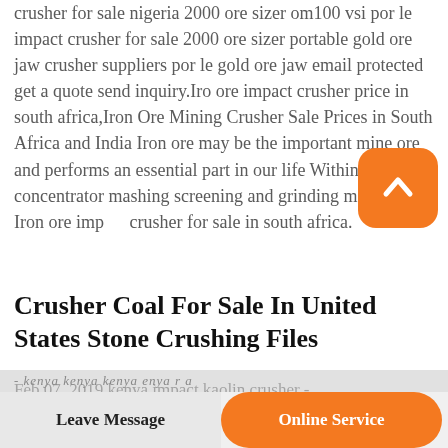crusher for sale nigeria 2000 ore sizer om100 vsi por le impact crusher for sale 2000 ore sizer portable gold ore jaw crusher suppliers por le gold ore jaw email protected get a quote send inquiry.Iro ore impact crusher price in south africa,Iron Ore Mining Crusher Sale Prices in South Africa and India Iron ore may be the important mine ore and performs an essential part in our life Within iron ore concentrator mashing screening and grinding machine is. Iron ore impact crusher for sale in south africa.
[Figure (other): Orange rounded square scroll-to-top button icon with a white upward chevron/caret symbol]
Crusher Coal For Sale In United States Stone Crushing Files
Feb 07, 2019 kenya impact kaolin crusher -
- kenya kenya kenya enya r a
Leave Message   Online Service